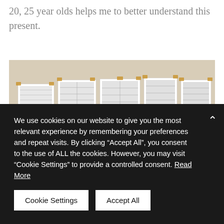20, 25 year olds helps me to better understand this present.
[Figure (photo): Multiple black-and-white comic or storyboard pages pinned to a cream-colored wall with small pieces of brown tape, arranged in two loose rows.]
We use cookies on our website to give you the most relevant experience by remembering your preferences and repeat visits. By clicking “Accept All”, you consent to the use of ALL the cookies. However, you may visit “Cookie Settings” to provide a controlled consent. Read More